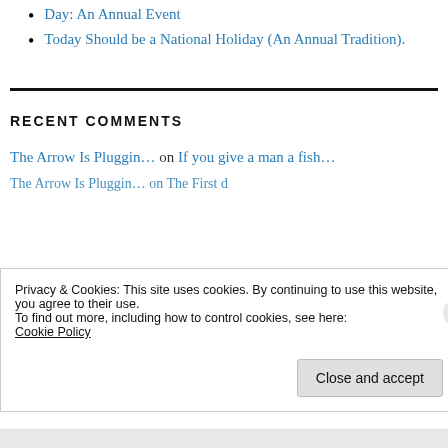Day: An Annual Event
Today Should be a National Holiday (An Annual Tradition).
RECENT COMMENTS
The Arrow Is Pluggin… on If you give a man a fish…
Privacy & Cookies: This site uses cookies. By continuing to use this website, you agree to their use.
To find out more, including how to control cookies, see here:
Cookie Policy
Close and accept